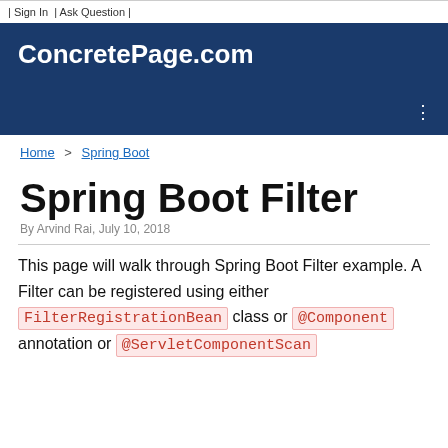| Sign In | Ask Question |
ConcretePage.com
Home > Spring Boot
Spring Boot Filter
By Arvind Rai, July 10, 2018
This page will walk through Spring Boot Filter example. A Filter can be registered using either FilterRegistrationBean class or @Component annotation or @ServletComponentScan